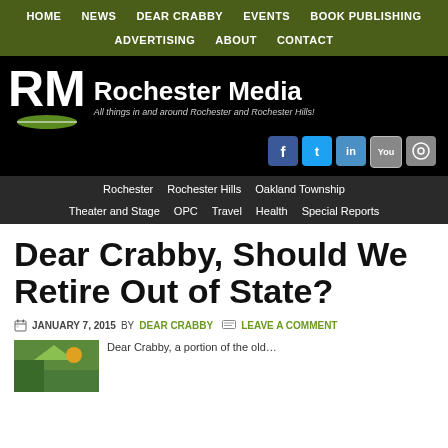HOME | NEWS | DEAR CRABBY | EVENTS | BOOK PUBLISHING | ADVERTISING | ABOUT | CONTACT
[Figure (logo): Rochester Media logo with RM letters, open book graphic, and tagline 'All things in and around Rochester and Rochester Hills!']
Rochester | Rochester Hills | Oakland Township | Theater and Stage | OPC | Travel | Health | Special Reports
Dear Crabby, Should We Retire Out of State?
JANUARY 7, 2015 BY DEAR CRABBY | LEAVE A COMMENT